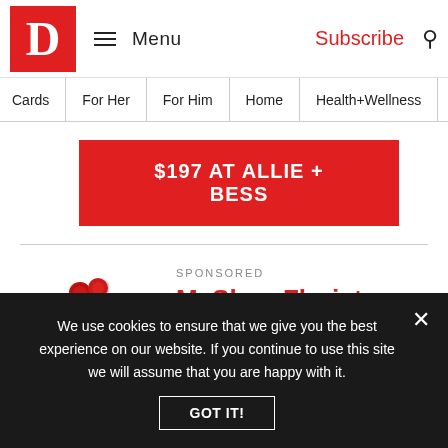D | Menu | Subscribe
Cards | For Her | For Him | Home | Health+Wellness | Fo...
$197 AT ALLIE + BESS
SPONSORED
McShan Florist Rose Arrangement
[Figure (photo): Flower arrangement of red roses in a glass vase with green foliage]
Roses are the perfect gift for
We use cookies to ensure that we give you the best experience on our website. If you continue to use this site we will assume that you are happy with it.
GOT IT!